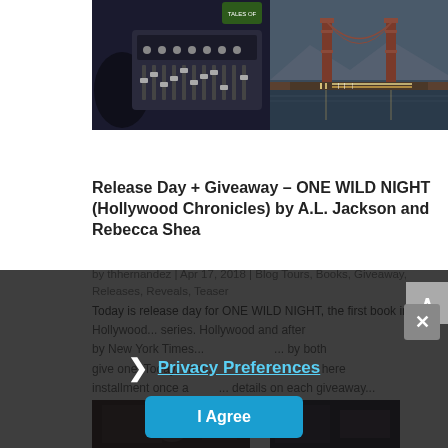[Figure (photo): Two side-by-side photos: left shows a person at a mixing board/audio console; right shows the Golden Gate Bridge with traffic at night]
Release Day + Giveaway – ONE WILD NIGHT (Hollywood Chronicles) by A.L. Jackson and Rebecca Shea
by thhernandez | Apr 17, 2018 | Blog Tours, Books, Giveaway, Releases, Reveals, Teaser
Today is release day for ONE WILD NIGHT, the first book in the Hollywood Chronicles series. Hollywood and after midnight by New York Times... details on the giveaway... find more information on each giveaway...
[Figure (screenshot): Privacy preferences overlay with dark background, showing a chevron icon, 'Privacy Preferences' link in blue, and an 'I Agree' button in cyan/blue]
[Figure (photo): Bottom partial images of book covers]